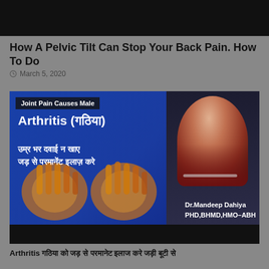[Figure (screenshot): Top black area from a video thumbnail (cropped)]
How A Pelvic Tilt Can Stop Your Back Pain. How To Do
March 5, 2020
[Figure (screenshot): Video thumbnail for Arthritis (गठिया) featuring Dr. Mandeep Dahiya PHD,BHMD,HMO-ABH with label 'Joint Pain Causes Male'. Blue background with Hindi text: उम्र भर दवाई न खाए जड़ से परमानेंट इलाज़ करे. Shows X-ray image of arthritic hands.]
Arthritis गठिया को जड़ से परमानेट इलाज करे जड़ी बूटी से